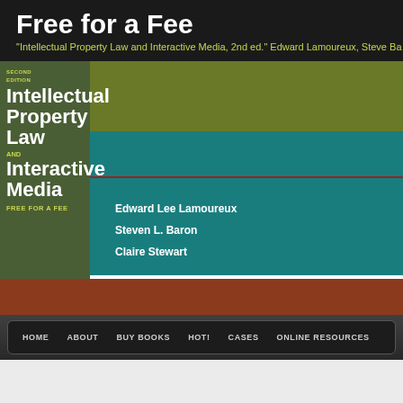Free for a Fee
"Intellectual Property Law and Interactive Media, 2nd ed." Edward Lamoureux, Steve Ba...
[Figure (illustration): Book cover for 'Intellectual Property Law and Interactive Media, Second Edition, Free for a Fee' by Edward Lee Lamoureux, Steven L. Baron, Claire Stewart. Features teal, olive, and brown color blocks with white bold text.]
HOME  ABOUT  BUY BOOKS  HOT!  CASES  ONLINE RESOURCES
Intuit beats Web encryption patent that defeated Newegg at trial
Intuit defeated a controversial web encryption patent by arguing that "no data 'are being transmitted' over the link until at least one bit of data has entered the link...